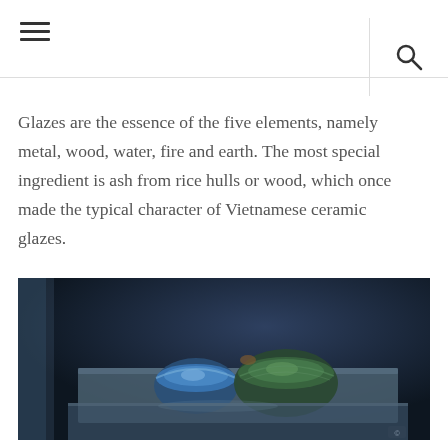Glazes are the essence of the five elements, namely metal, wood, water, fire and earth. The most special ingredient is ash from rice hulls or wood, which once made the typical character of Vietnamese ceramic glazes.
[Figure (photo): Two ceramic bowls — one blue and one green — resting on a wooden surface in a dark, moody workshop setting. A blurred vertical element is visible in the foreground left.]